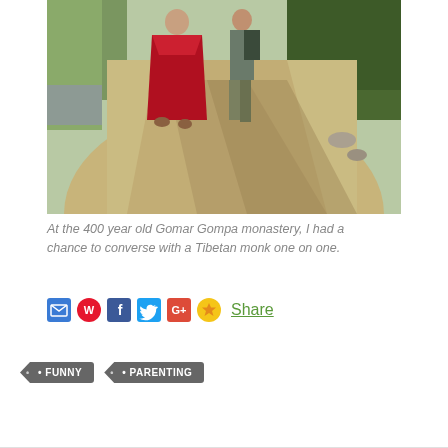[Figure (photo): Two people walking on a dirt path — one wearing a red Buddhist monk robe, the other in casual clothes with a backpack — surrounded by greenery at Gomar Gompa monastery.]
At the 400 year old Gomar Gompa monastery, I had a chance to converse with a Tibetan monk one on one.
Share icons: email, Weibo, Facebook, Twitter, Google+, Zingme, Share
FUNNY
PARENTING